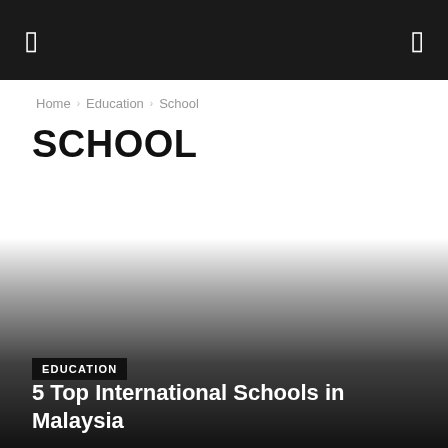[ ] [ ]
Home › Education › School
SCHOOL
[Figure (photo): Dark gradient overlay background transitioning from white to dark gray/black at the bottom of the page, serving as background for an article card]
EDUCATION
5 Top International Schools in Malaysia